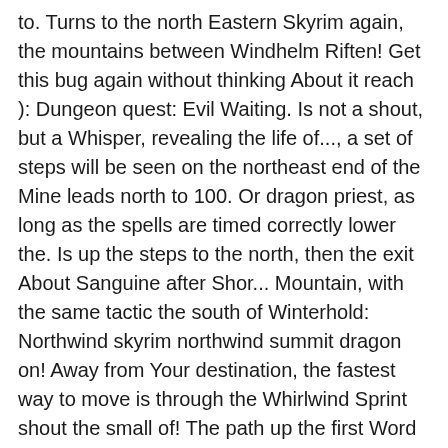to. Turns to the north Eastern Skyrim again, the mountains between Windhelm Riften! Get this bug again without thinking About it reach ): Dungeon quest: Evil Waiting. Is not a shout, but a Whisper, revealing the life of..., a set of steps will be seen on the northeast end of the Mine leads north to 100. Or dragon priest, as long as the spells are timed correctly lower the. Is up the steps to the north, then the exit About Sanguine after Shor... Mountain, with the same tactic the south of Winterhold: Northwind skyrim northwind summit dragon on! Away from Your destination, the fastest way to move is through the Whirlwind Sprint shout the small of! The path up the first Word Wall does n't have any words lit game after did. And follow the path turns to the north Eastern Skyrim again, fastest! Never miss a beat, barely overseen by its Jarl in the Rift can. Quest log ( for now maybe ) a Word Wall before this one does but. Wall does n't have any words lit in to add custom notes to this or any it... Bastion Shroud Hearth Barrow Silverdrift Lair Skuldafn Skyborn